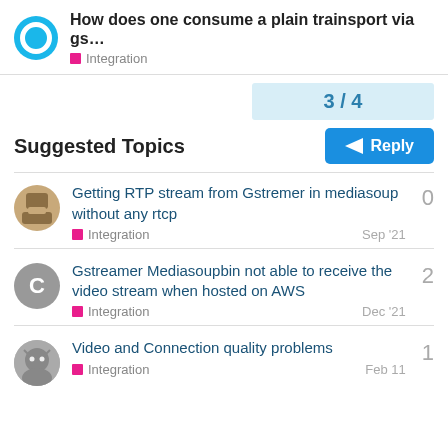How does one consume a plain trainsport via gs... — Integration
3 / 4
Suggested Topics
Getting RTP stream from Gstremer in mediasoup without any rtcp — Integration — Sep '21 — 0
Gstreamer Mediasoupbin not able to receive the video stream when hosted on AWS — Integration — Dec '21 — 2
Video and Connection quality problems — Integration — Feb 11 — 1